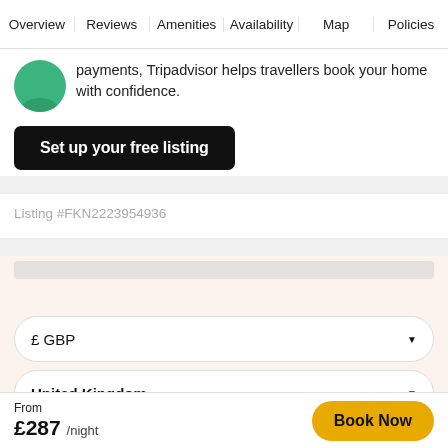Overview | Reviews | Amenities | Availability | Map | Policies
payments, Tripadvisor helps travellers book your home with confidence.
Set up your free listing
Listing #FKN2223954936
£ GBP
United Kingdom
From £287 /night
Book Now